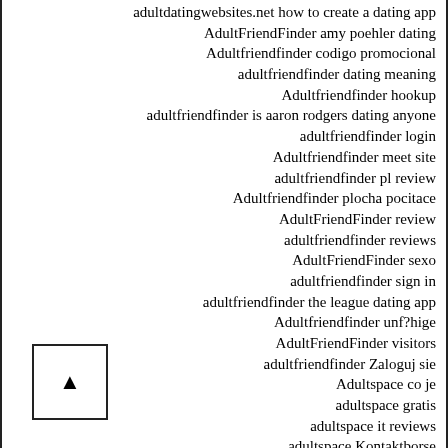adultdatingwebsites.net how to create a dating app
AdultFriendFinder amy poehler dating
Adultfriendfinder codigo promocional
adultfriendfinder dating meaning
Adultfriendfinder hookup
adultfriendfinder is aaron rodgers dating anyone
adultfriendfinder login
Adultfriendfinder meet site
adultfriendfinder pl review
Adultfriendfinder plocha pocitace
AdultFriendFinder review
adultfriendfinder reviews
AdultFriendFinder sexo
adultfriendfinder sign in
adultfriendfinder the league dating app
Adultfriendfinder unf?hige
AdultFriendFinder visitors
adultfriendfinder Zaloguj sie
Adultspace co je
adultspace gratis
adultspace it reviews
adultspace Kontaktborse
Adultspace pagina para ligar
AdultSpace review
AdultSpace visitors
adultspace-inceleme tanД±Eyma
adultspace-inceleme yorumlar